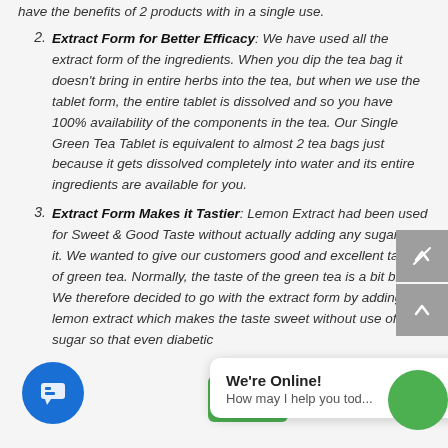have the benefits of 2 products with in a single use.
Extract Form for Better Efficacy: We have used all the extract form of the ingredients. When you dip the tea bag it doesn't bring in entire herbs into the tea, but when we use the tablet form, the entire tablet is dissolved and so you have 100% availability of the components in the tea. Our Single Green Tea Tablet is equivalent to almost 2 tea bags just because it gets dissolved completely into water and its entire ingredients are available for you.
Extract Form Makes it Tastier: Lemon Extract had been used for Sweet & Good Taste without actually adding any sugar into it. We wanted to give our customers good and excellent taste of green tea. Normally, the taste of the green tea is a bit bitter. We therefore decided to go with the extract form by adding lemon extract which makes the taste sweet without use of sugar so that even diabetic...